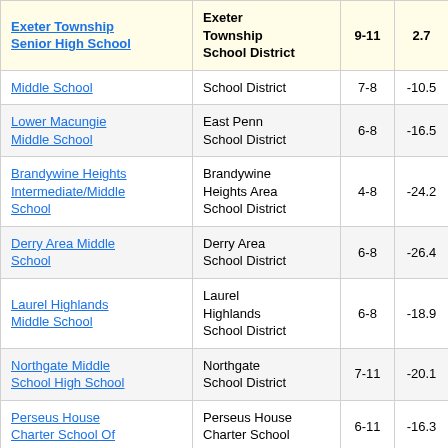| School | District | Grades | Value |
| --- | --- | --- | --- |
| Exeter Township Senior High School | Exeter Township School District | 9-11 | 2.7 |
| Middle School | School District | 7-8 | -10.5 |
| Lower Macungie Middle School | East Penn School District | 6-8 | -16.5 |
| Brandywine Heights Intermediate/Middle School | Brandywine Heights Area School District | 4-8 | -24.2 |
| Derry Area Middle School | Derry Area School District | 6-8 | -26.4 |
| Laurel Highlands Middle School | Laurel Highlands School District | 6-8 | -18.9 |
| Northgate Middle School High School | Northgate School District | 7-11 | -20.1 |
| Perseus House Charter School Of | Perseus House Charter School | 6-11 | -16.3 |